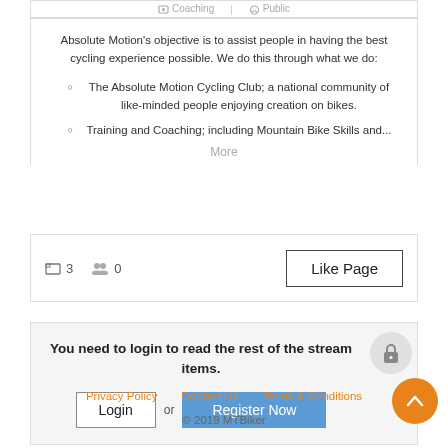Coaching | Public
Absolute Motion's objective is to assist people in having the best cycling experience possible. We do this through what we do:
The Absolute Motion Cycling Club; a national community of like-minded people enjoying creation on bikes.
Training and Coaching; including Mountain Bike Skills and...
More
3   0
Like Page
You need to login to read the rest of the stream items.
Login or Register Now
Privacy Policy   Contact Us   Terms & Conditions
© 2019 MTBiker